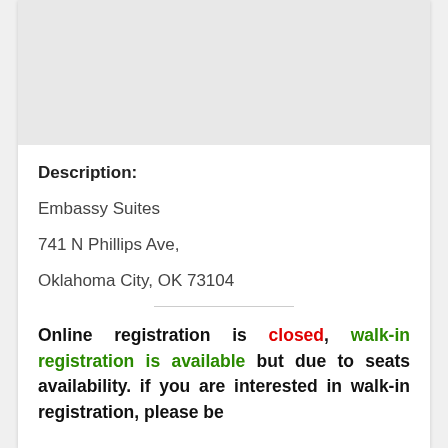[Figure (map): Gray map thumbnail showing a geographic area]
Description:
Embassy Suites
741 N Phillips Ave,
Oklahoma City, OK 73104
Online registration is closed, walk-in registration is available but due to seats availability. if you are interested in walk-in registration, please be